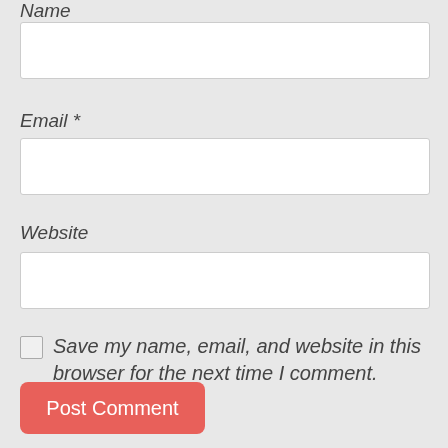Name
[Figure (other): Empty text input field for Name]
Email *
[Figure (other): Empty text input field for Email]
Website
[Figure (other): Empty text input field for Website]
Save my name, email, and website in this browser for the next time I comment.
Post Comment